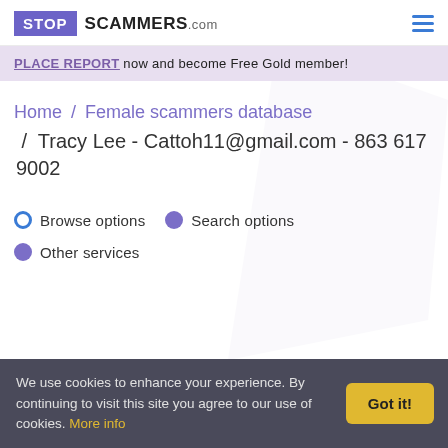STOP SCAMMERS.com
PLACE REPORT now and become Free Gold member!
Home / Female scammers database / Tracy Lee - Cattoh11@gmail.com - 863 617 9002
Browse options
Search options
Other services
We use cookies to enhance your experience. By continuing to visit this site you agree to our use of cookies. More info